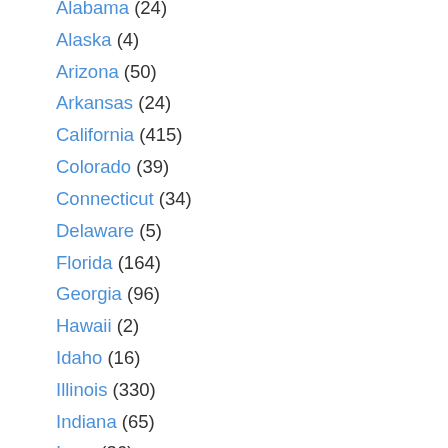Alabama (24)
Alaska (4)
Arizona (50)
Arkansas (24)
California (415)
Colorado (39)
Connecticut (34)
Delaware (5)
Florida (164)
Georgia (96)
Hawaii (2)
Idaho (16)
Illinois (330)
Indiana (65)
Iowa (36)
Kansas (26)
Kentucky (19)
Louisiana (22)
Maine (9)
Maryland (20)
Massachusetts (62)
Michigan (127)